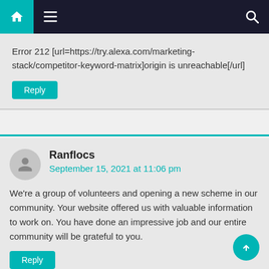Navigation bar with home, menu, and search icons
Error 212 [url=https://try.alexa.com/marketing-stack/competitor-keyword-matrix]origin is unreachable[/url]
Reply
Ranflocs
September 15, 2021 at 11:06 pm
We're a group of volunteers and opening a new scheme in our community. Your website offered us with valuable information to work on. You have done an impressive job and our entire community will be grateful to you.
Reply